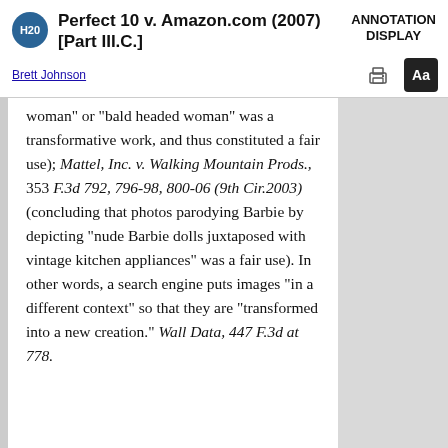Perfect 10 v. Amazon.com (2007) [Part III.C.]
ANNOTATION DISPLAY
Brett Johnson
woman" or "bald headed woman" was a transformative work, and thus constituted a fair use); Mattel, Inc. v. Walking Mountain Prods., 353 F.3d 792, 796-98, 800-06 (9th Cir.2003) (concluding that photos parodying Barbie by depicting "nude Barbie dolls juxtaposed with vintage kitchen appliances" was a fair use). In other words, a search engine puts images "in a different context" so that they are "transformed into a new creation." Wall Data, 447 F.3d at 778.